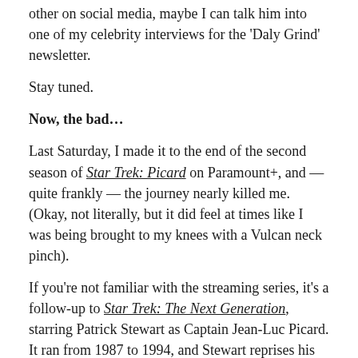other on social media, maybe I can talk him into one of my celebrity interviews for the ‘Daly Grind’ newsletter.
Stay tuned.
Now, the bad…
Last Saturday, I made it to the end of the second season of Star Trek: Picard on Paramount+, and — quite frankly — the journey nearly killed me. (Okay, not literally, but it did feel at times like I was being brought to my knees with a Vulcan neck pinch).
If you’re not familiar with the streaming series, it’s a follow-up to Star Trek: The Next Generation, starring Patrick Stewart as Captain Jean-Luc Picard. It ran from 1987 to 1994, and Stewart reprises his role in the new series (as do other original cast members).